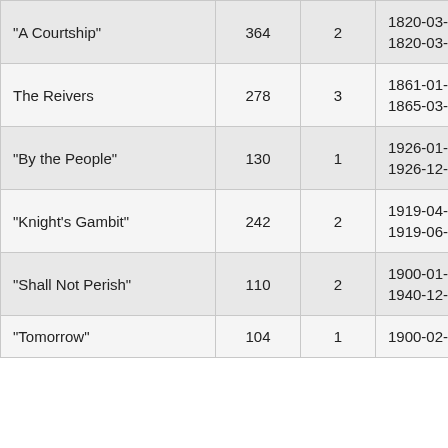| Title | Pages | Count | Date Range | Location |
| --- | --- | --- | --- | --- |
| "A Courtship" | 364 | 2 | 1820-03-03 to 1820-03-31 | Ikkemotub (Location) |
| The Reivers | 278 | 3 | 1861-01-01 to 1865-03-31 | Carolina in |
| "By the People" | 130 | 1 | 1926-01-01 to 1926-12-31 | Frenchman (Location) |
| "Knight's Gambit" | 242 | 2 | 1919-04-01 to 1919-06-30 | Backus-Ha Gambit" (L |
| "Shall Not Perish" | 110 | 2 | 1900-01-01 to 1940-12-31 | Places Acr Perish" (Lo |
| "Tomorrow" | 104 | 1 | 1900-02-01 to | Quick's Sa |